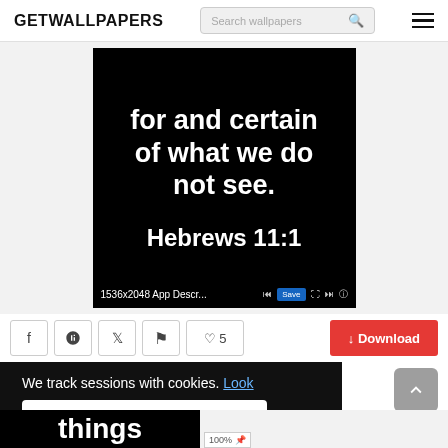GETWALLPAPERS   Search wallpapers   ☰
[Figure (screenshot): Wallpaper image on black background with bold white text reading 'for and certain of what we do not see.' and 'Hebrews 11:1'. Bottom bar shows '1536x2048 App Descr...' with media controls and a Save button.]
[Figure (screenshot): Action bar with Facebook, Pinterest, Twitter, Flag, and heart (5 likes) icon buttons, plus a red Download button.]
[Figure (screenshot): Cookie consent overlay on dark background reading 'We track sessions with cookies. Look' with an Ok button below. Partially visible bottom image shows bold text 'things'.]